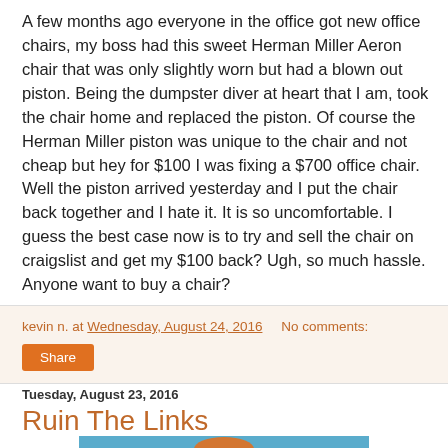A few months ago everyone in the office got new office chairs, my boss had this sweet Herman Miller Aeron chair that was only slightly worn but had a blown out piston. Being the dumpster diver at heart that I am, took the chair home and replaced the piston. Of course the Herman Miller piston was unique to the chair and not cheap but hey for $100 I was fixing a $700 office chair. Well the piston arrived yesterday and I put the chair back together and I hate it. It is so uncomfortable. I guess the best case now is to try and sell the chair on craigslist and get my $100 back? Ugh, so much hassle. Anyone want to buy a chair?
kevin n. at Wednesday, August 24, 2016   No comments:
Share
Tuesday, August 23, 2016
Ruin The Links
[Figure (photo): Partial image of a photo visible at the bottom of the page]